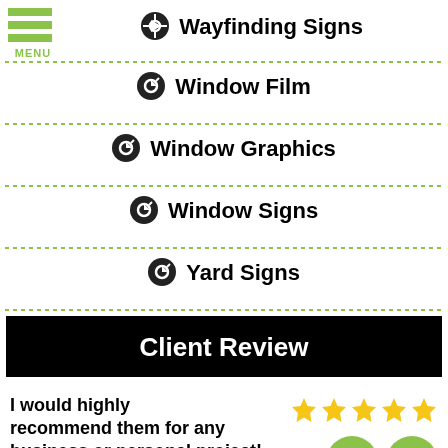[Figure (other): Hamburger menu icon with three green horizontal bars and MENU label]
➔ Wayfinding Signs
➔ Window Film
➔ Window Graphics
➔ Window Signs
➔ Yard Signs
Client Review
I would highly recommend them for any business or personal project!
[Figure (other): Five gold stars rating]
[Figure (other): Phone icon in green circle and email icon in green circle]